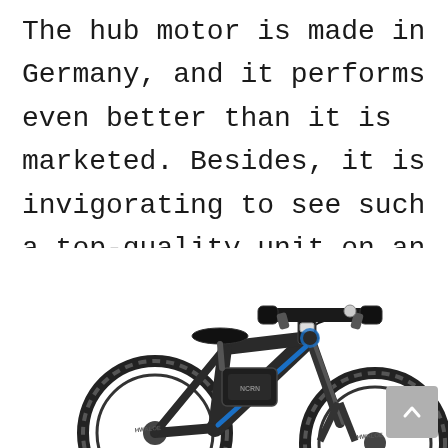The hub motor is made in Germany, and it performs even better than it is marketed. Besides, it is invigorating to see such a top-quality unit on an inexpensive e-MTB.
[Figure (photo): Photo of a dark gray and blue electric mountain bike (e-MTB) showing the handlebars, seat, frame with battery, and front fork. The bike appears to be a NCRN or similar brand with Hwaloe tires.]